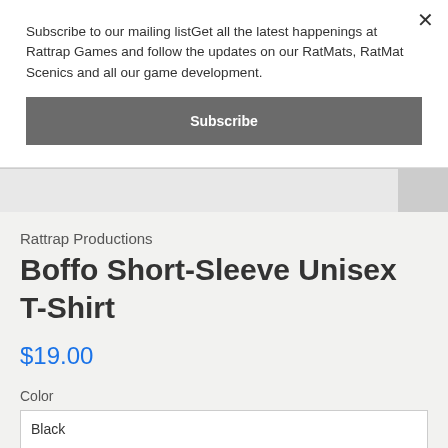Subscribe to our mailing listGet all the latest happenings at Rattrap Games and follow the updates on our RatMats, RatMat Scenics and all our game development.
Subscribe
Rattrap Productions
Boffo Short-Sleeve Unisex T-Shirt
$19.00
Color
Black